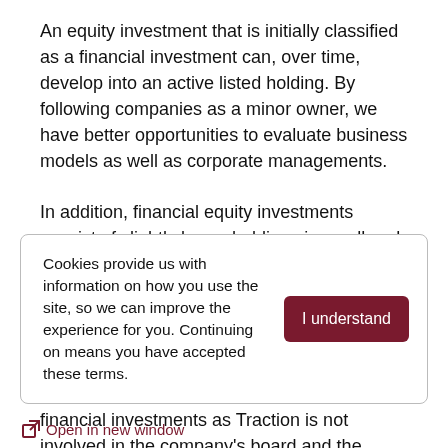An equity investment that is initially classified as a financial investment can, over time, develop into an active listed holding. By following companies as a minor owner, we have better opportunities to evaluate business models as well as corporate managements.
In addition, financial equity investments consist of slightly larger holdings in small and medium-sized listed companies, where Traction can also be involved in the Nomination Committee's work such as in Poolia where Traction is the second largest owner. In 2020, the holding in Duroc was reclassified from active listed holdings to financial investments as Traction is not involved in the company's board and the ownership is already less than ten percent of the votes...
Cookies provide us with information on how you use the site, so we can improve the experience for you. Continuing on means you have accepted these terms.
Open in new window